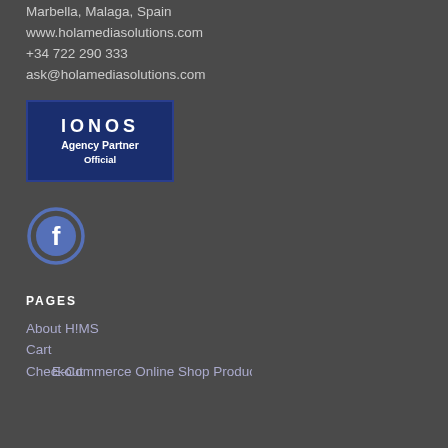Marbella, Malaga, Spain
www.holamediasolutions.com
+34 722 290 333
ask@holamediasolutions.com
[Figure (logo): IONOS Agency Partner Official badge — dark blue rectangle with white bold text]
[Figure (logo): Facebook icon — circular logo with f symbol in blue ring]
PAGES
About H!MS
Cart
Checkout
E-Commerce Online Shop Products